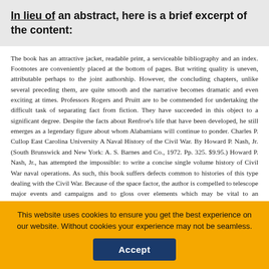In lieu of an abstract, here is a brief excerpt of the content:
The book has an attractive jacket, readable print, a serviceable bibliography and an index. Footnotes are conveniently placed at the bottom of pages. But writing quality is uneven, attributable perhaps to the joint authorship. However, the concluding chapters, unlike several preceding them, are quite smooth and the narrative becomes dramatic and even exciting at times. Professors Rogers and Pruitt are to be commended for undertaking the difficult task of separating fact from fiction. They have succeeded in this object to a significant degree. Despite the facts about Renfroe's life that have been developed, he still emerges as a legendary figure about whom Alabamians will continue to ponder. Charles P. Cullop East Carolina University A Naval History of the Civil War. By Howard P. Nash, Jr. (South Brunswick and New York: A. S. Barnes and Co., 1972. Pp. 325. $9.95.) Howard P. Nash, Jr., has attempted the impossible: to write a concise single volume history of Civil War naval operations. As such, this book suffers defects common to histories of this type dealing with the Civil War. Because of the space factor, the author is compelled to telescope major events and campaigns and to gloss over elements which may be vital to an understanding of why the belligerents acted as they did. In addition, the author is forced to rely on secondary sources to a degree unacceptable
This website uses cookies to ensure you get the best experience on our website. Without cookies your experience may not be seamless.